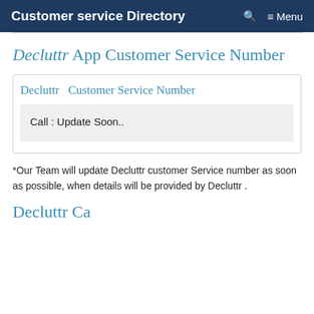Customer service Directory  🔍  ≡ Menu
Decluttr App Customer Service Number
Decluttr  Customer Service Number
Call : Update Soon..
*Our Team will update Decluttr customer Service number as soon as possible, when details will be provided by Decluttr .
Decluttr Ca...